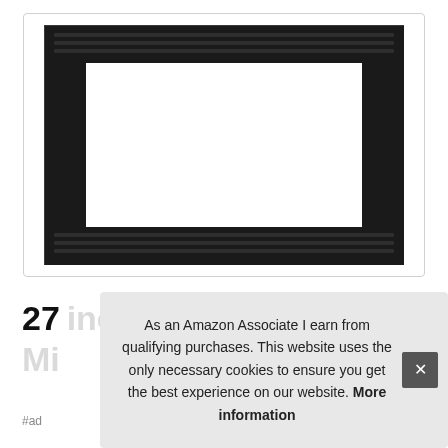[Figure (photo): A black rectangular trim kit/frame for a built-in microwave, shown against a white background inside a light gray bordered box. The frame is black with horizontal ridged decorative strips at top and bottom, and a large rectangular white opening in the center.]
27 inch Black NTENSBF Mi...
#ad
As an Amazon Associate I earn from qualifying purchases. This website uses the only necessary cookies to ensure you get the best experience on our website. More information